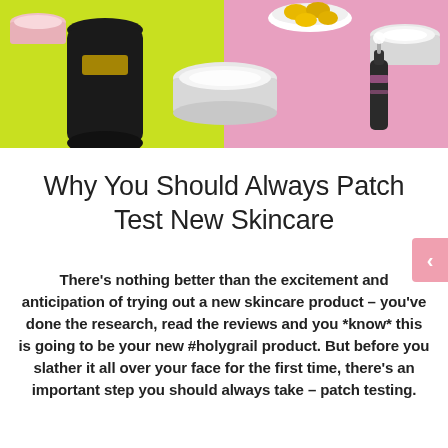[Figure (photo): Flat lay of skincare products on a split yellow-green and pink background, including a dark glass bottle, white cream jars, a dropper bottle, and bowls with product.]
Why You Should Always Patch Test New Skincare
There's nothing better than the excitement and anticipation of trying out a new skincare product – you've done the research, read the reviews and you *know* this is going to be your new #holygrail product. But before you slather it all over your face for the first time, there's an important step you should always take – patch testing.